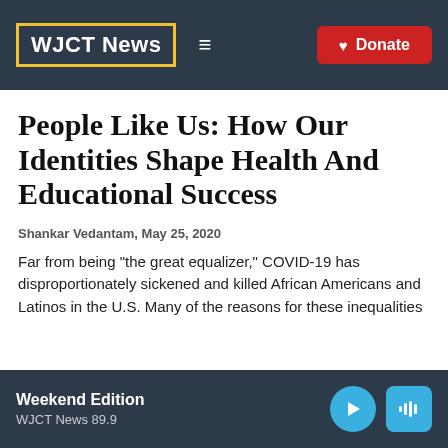WJCT News
People Like Us: How Our Identities Shape Health And Educational Success
Shankar Vedantam, May 25, 2020
Far from being "the great equalizer," COVID-19 has disproportionately sickened and killed African Americans and Latinos in the U.S. Many of the reasons for these inequalities
Weekend Edition WJCT News 89.9